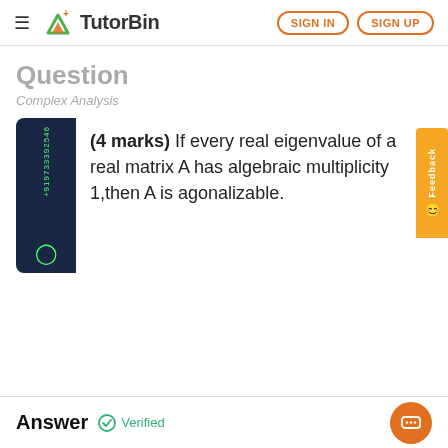TutorBin — SIGN IN | SIGN UP
Question
Complex Analysis
(4 marks) If every real eigenvalue of a real matrix A has algebraic multiplicity 1,then A is agonalizable.
Answer  ✓ Verified